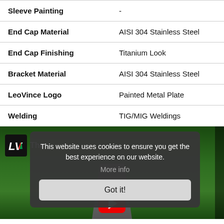| Property | Value |
| --- | --- |
| Sleeve Painting | - |
| End Cap Material | AISI 304 Stainless Steel |
| End Cap Finishing | Titanium Look |
| Bracket Material | AISI 304 Stainless Steel |
| LeoVince Logo | Painted Metal Plate |
| Welding | TIG/MIG Weldings |
[Figure (screenshot): Video thumbnail with LV logo and 'The' text visible, with a cookie consent dialog overlay. Background shows a road scene with forest, a rider on a motorcycle, and a YouTube play button at the bottom.]
This website uses cookies to ensure you get the best experience on our website.
More info
Got it!